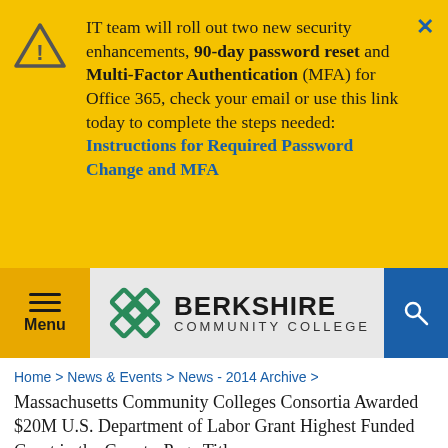IT team will roll out two new security enhancements, 90-day password reset and Multi-Factor Authentication (MFA) for Office 365, check your email or use this link today to complete the steps needed: Instructions for Required Password Change and MFA
[Figure (logo): Berkshire Community College logo with green Celtic knot emblem and college name]
Home > News & Events > News - 2014 Archive > Massachusetts Community Colleges Consortia Awarded $20M U.S. Department of Labor Grant Highest Funded Grant in the CountryPage Title